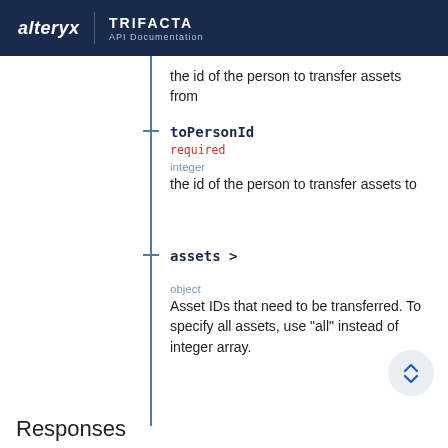alteryx | TRIFACTA API Documentation
the id of the person to transfer assets from
toPersonId
required
integer
the id of the person to transfer assets to
assets >
object
Asset IDs that need to be transferred. To specify all assets, use "all" instead of integer array.
Responses